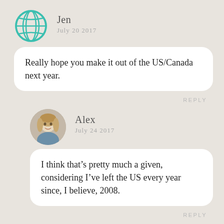[Figure (illustration): Teal globe icon representing user avatar for Jen]
Jen
July 20 2017
Really hope you make it out of the US/Canada next year.
REPLY
[Figure (photo): Circular profile photo of a blonde woman (Alex)]
Alex
July 24 2017
I think that’s pretty much a given, considering I’ve left the US every year since, I believe, 2008.
REPLY